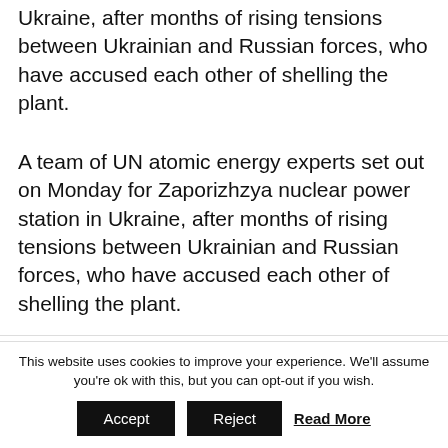Ukraine, after months of rising tensions between Ukrainian and Russian forces, who have accused each other of shelling the plant.
A team of UN atomic energy experts set out on Monday for Zaporizhzya nuclear power station in Ukraine, after months of rising tensions between Ukrainian and Russian forces, who have accused each other of shelling the plant.
In a tweet, Rafael Grossi, head of the International Atomic Energy Agency, IAEA said that he was proud to lead this mission. Our team will...
CONTINUE READING
This website uses cookies to improve your experience. We'll assume you're ok with this, but you can opt-out if you wish.
Accept
Reject
Read More